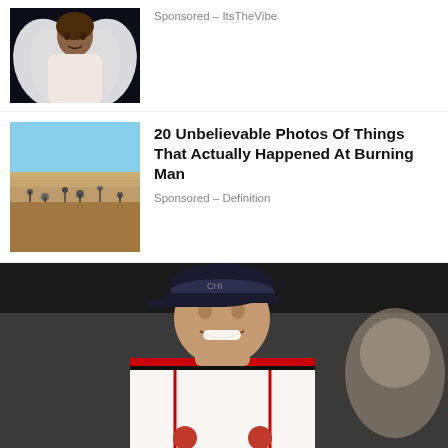[Figure (photo): Thumbnail of woman with angel wings, dark background]
Sponsored - ItsTheVibe
[Figure (photo): Thumbnail of crowded outdoor festival scene with bicycles]
20 Unbelievable Photos Of Things That Actually Happened At Burning Man
Sponsored - Definition
[Figure (photo): Large photo of a man smiling, wearing a Chicago Bulls jersey and baseball cap, with another person partially visible on the right]